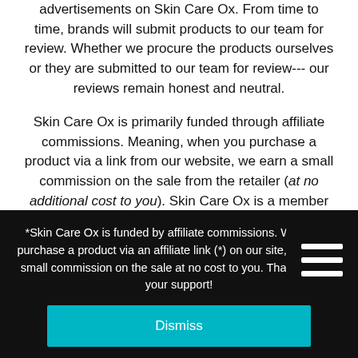advertisements on Skin Care Ox. From time to time, brands will submit products to our team for review. Whether we procure the products ourselves or they are submitted to our team for review--- our reviews remain honest and neutral.

Skin Care Ox is primarily funded through affiliate commissions. Meaning, when you purchase a product via a link from our website, we earn a small commission on the sale from the retailer (at no additional cost to you). Skin Care Ox is a member of numerous affiliate networks
[Figure (other): Hamburger menu icon button — black square with three white horizontal bars]
*Skin Care Ox is funded by affiliate commissions. When you purchase a product via an affiliate link (*) on our site, we earn a small commission on the sale at no cost to you. Thank you for your support!
Dismiss